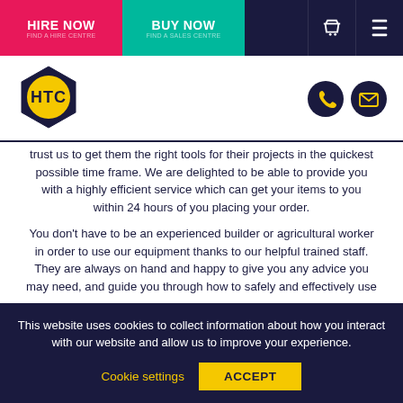HIRE NOW | BUY NOW
[Figure (logo): HTC hexagon logo in navy blue and yellow]
trust us to get them the right tools for their projects in the quickest possible time frame. We are delighted to be able to provide you with a highly efficient service which can get your items to you within 24 hours of you placing your order.
You don't have to be an experienced builder or agricultural worker in order to use our equipment thanks to our helpful trained staff. They are always on hand and happy to give you any advice you may need, and guide you through how to safely and effectively use
This website uses cookies to collect information about how you interact with our website and allow us to improve your experience.
Cookie settings   ACCEPT